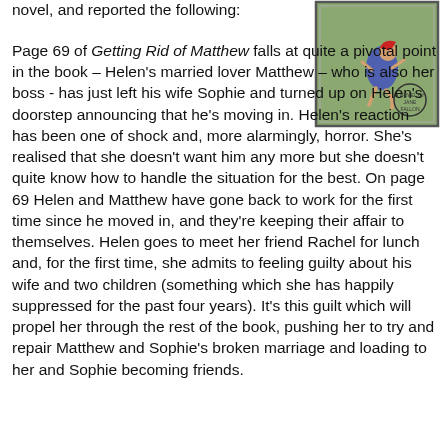novel, and reported the following:
[Figure (illustration): Book cover of 'Getting Rid of Matthew' showing a cartoon woman in a blue dress running on a green background, with author name Jane Fallon.]
Page 69 of Getting Rid of Matthew falls at quite a pivotal point in the book – Helen's married lover Matthew – who is also her boss - has just left his wife Sophie and turned up on Helen's doorstep announcing that he's moving in. Helen's reaction has been one of shock and, more alarmingly, horror. She's realised that she doesn't want him any more but she doesn't quite know how to handle the situation for the best. On page 69 Helen and Matthew have gone back to work for the first time since he moved in, and they're keeping their affair to themselves. Helen goes to meet her friend Rachel for lunch and, for the first time, she admits to feeling guilty about his wife and two children (something which she has happily suppressed for the past four years). It's this guilt which will propel her through the rest of the book, pushing her to try and repair Matthew and Sophie's broken marriage and loading to her and Sophie becoming friends.